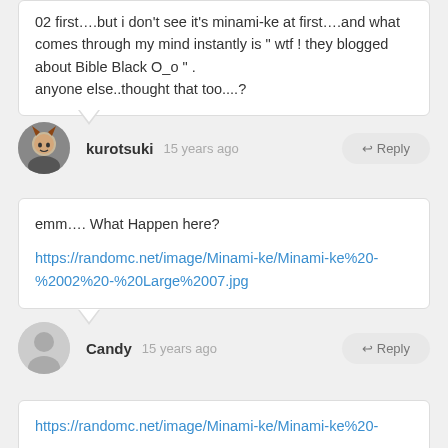02 first….but i don't see it's minami-ke at first….and what comes through my mind instantly is " wtf ! they blogged about Bible Black O_o " .
anyone else..thought that too....?
kurotsuki  15 years ago
emm…. What Happen here?
https://randomc.net/image/Minami-ke/Minami-ke%20-%2002%20-%20Large%2007.jpg
Candy  15 years ago
https://randomc.net/image/Minami-ke/Minami-ke%20-